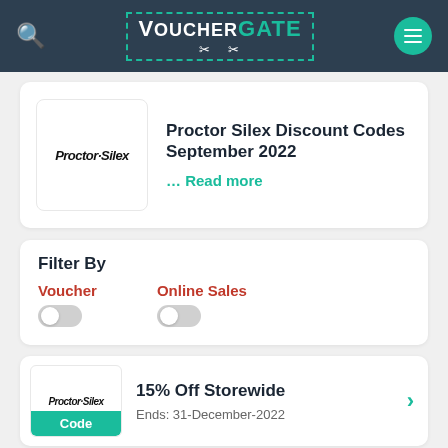VOUCHERGATE
Proctor Silex Discount Codes September 2022
... Read more
Filter By
Voucher
Online Sales
15% Off Storewide
Ends: 31-December-2022
Code